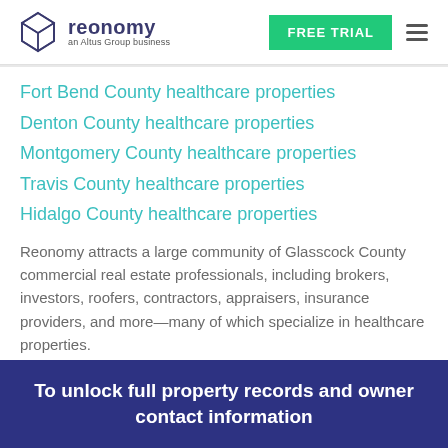reonomy — an Altus Group business | FREE TRIAL
Fort Bend County healthcare properties
Denton County healthcare properties
Montgomery County healthcare properties
Travis County healthcare properties
Hidalgo County healthcare properties
Reonomy attracts a large community of Glasscock County commercial real estate professionals, including brokers, investors, roofers, contractors, appraisers, insurance providers, and more—many of which specialize in healthcare properties.
To unlock full property records and owner contact information